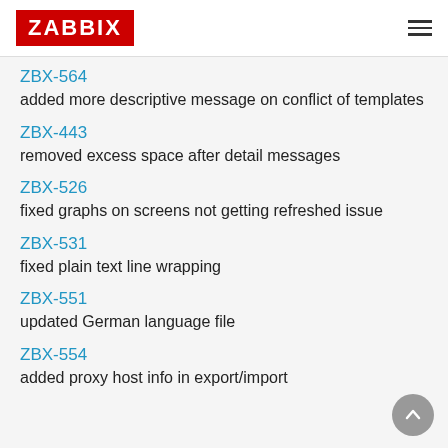ZABBIX
ZBX-564
added more descriptive message on conflict of templates
ZBX-443
removed excess space after detail messages
ZBX-526
fixed graphs on screens not getting refreshed issue
ZBX-531
fixed plain text line wrapping
ZBX-551
updated German language file
ZBX-554
added proxy host info in export/import